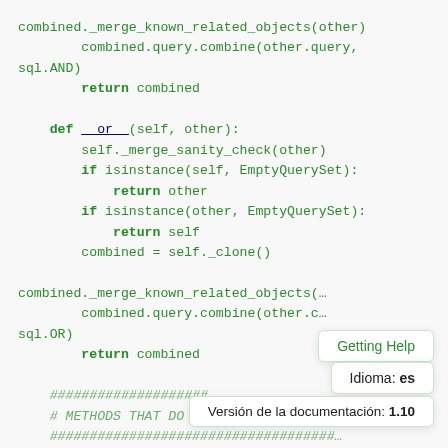combined._merge_known_related_objects(other)
        combined.query.combine(other.query,
sql.AND)
        return combined

    def __or__(self, other):
        self._merge_sanity_check(other)
        if isinstance(self, EmptyQuerySet):
            return other
        if isinstance(other, EmptyQuerySet):
            return self
        combined = self._clone()

combined._merge_known_related_objects(…)
        combined.query.combine(other.c…
sql.OR)
        return combined

        ####################…
        # METHODS THAT DO DATABASE QUERIES #
        ####################################…
Getting Help
Idioma: es
Versión de la documentación: 1.10